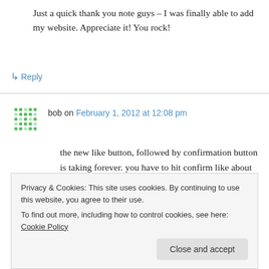Just a quick thank you note guys – I was finally able to add my website. Appreciate it! You rock!
↳ Reply
bob on February 1, 2012 at 12:08 pm
the new like button, followed by confirmation button is taking forever. you have to hit confirm like about 50 times to actually get your points. I loved it last night even when all you had to hit
Privacy & Cookies: This site uses cookies. By continuing to use this website, you agree to their use.
To find out more, including how to control cookies, see here: Cookie Policy
Close and accept